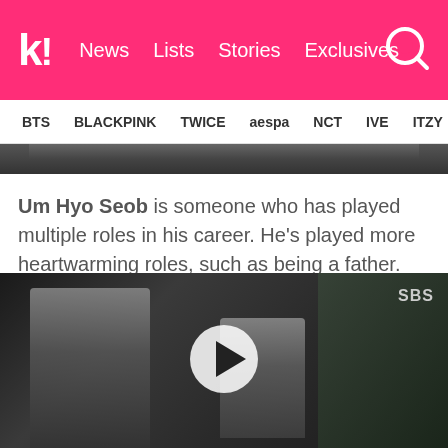k! News Lists Stories Exclusives
BTS BLACKPINK TWICE aespa NCT IVE ITZY
[Figure (screenshot): Top portion of a TV scene, dark interior, partially visible]
Um Hyo Seob is someone who has played multiple roles in his career. He's played more heartwarming roles, such as being a father. He's also portrayed more sinister characters, such as being a backstabber.
[Figure (screenshot): Video thumbnail showing two people in dark suits in an indoor setting, with SBS watermark, and a play button overlay in the center]